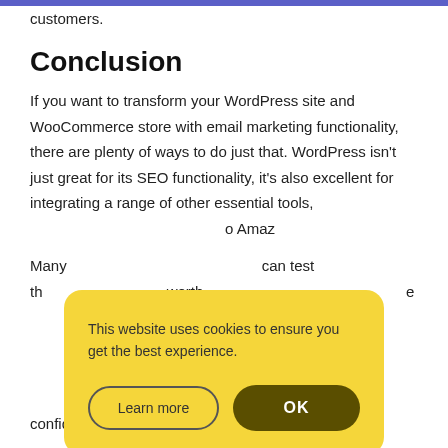customers.
Conclusion
If you want to transform your WordPress site and WooCommerce store with email marketing functionality, there are plenty of ways to do just that. WordPress isn't just great for its SEO functionality, it's also excellent for integrating a range of other essential tools, [obscured] o Amaz[obscured]
[Figure (screenshot): Cookie consent popup with yellow background reading 'This website uses cookies to ensure you get the best experience.' with 'Learn more' and 'OK' buttons.]
Many [obscured] can test th[obscured] worth[obscured] e confident about the best email marketing tool for you